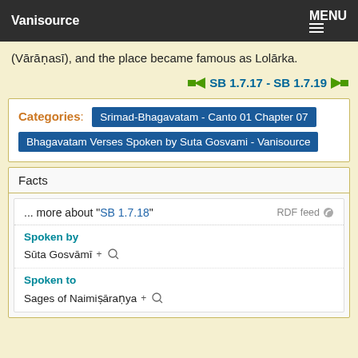Vanisource  MENU
(Vārāṇasī), and the place became famous as Lolārka.
SB 1.7.17 - SB 1.7.19
| Categories |
| --- |
| Srimad-Bhagavatam - Canto 01 Chapter 07 |
| Bhagavatam Verses Spoken by Suta Gosvami - Vanisource |
Facts
... more about "SB 1.7.18"  RDF feed
Spoken by
Sūta Gosvāmī+
Spoken to
Sages of Naimiṣāraṇya+